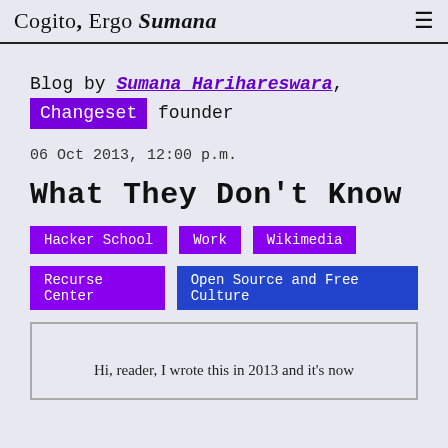Cogito, Ergo Sumana
Blog by Sumana Harihareswara, Changeset founder
06 Oct 2013, 12:00 p.m.
What They Don't Know
Hacker School
Work
Wikimedia
Recurse Center
Open Source and Free Culture
Hi, reader, I wrote this in 2013 and it's now